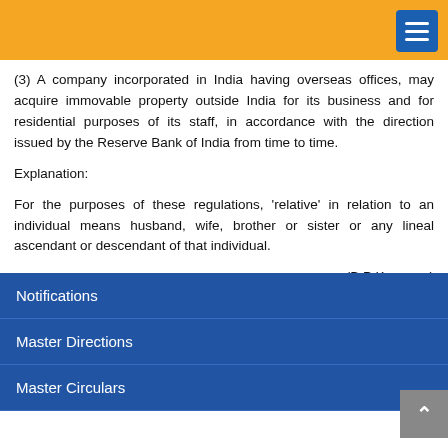(3) A company incorporated in India having overseas offices, may acquire immovable property outside India for its business and for residential purposes of its staff, in accordance with the direction issued by the Reserve Bank of India from time to time.
Explanation:
For the purposes of these regulations, 'relative' in relation to an individual means husband, wife, brother or sister or any lineal ascendant or descendant of that individual.
(B P Kanungo)
Principal Chief General Manager
Published in the Official Gazette of Government of India – Extraordinary – Part-II, Section 3, Sub-Section (i) dated 21.01.2016- G.S.R.No.95(E)
Notifications
Master Directions
Master Circulars